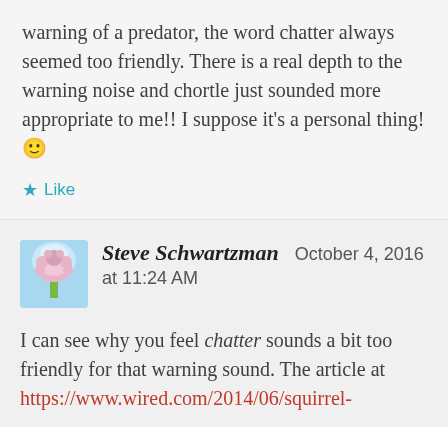warning of a predator, the word chatter always seemed too friendly. There is a real depth to the warning noise and chortle just sounded more appropriate to me!! I suppose it's a personal thing! 🙂
★ Like
Steve Schwartzman  October 4, 2016 at 11:24 AM
I can see why you feel chatter sounds a bit too friendly for that warning sound. The article at
https://www.wired.com/2014/06/squirrel-